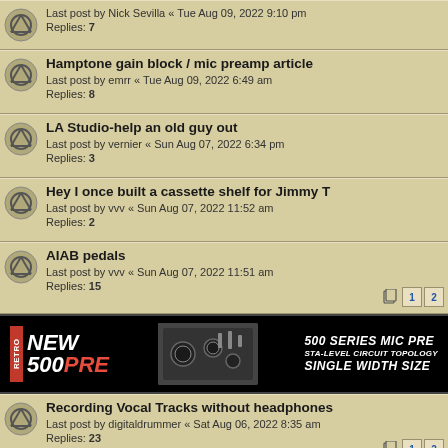Last post by Nick Sevilla « Tue Aug 09, 2022 9:10 pm
Replies: 7
Hamptone gain block / mic preamp article
Last post by emrr « Tue Aug 09, 2022 6:49 am
Replies: 8
LA Studio-help an old guy out
Last post by vernier « Sun Aug 07, 2022 6:34 pm
Replies: 3
Hey I once built a cassette shelf for Jimmy T
Last post by vvv « Sun Aug 07, 2022 11:52 am
Replies: 2
AIAB pedals
Last post by vvv « Sun Aug 07, 2022 11:51 am
Replies: 15
[Figure (infographic): Advertisement banner for Retro 500PRE: 500 Series Mic Pre, STA-Level Circuit Topology, Single Width Size. Black background with device image.]
Recording Vocal Tracks without headphones
Last post by digitaldrummer « Sat Aug 06, 2022 8:35 am
Replies: 23
Let's talk about layering vocal harmonies
Last post by Nick Sevilla « Wed Aug 03, 2022 10:06 am
Replies: 12
Curiosity about 1/2" 16-tracks w/ RCA inputs
Last post by vernier « Sun Jul 31, 2022 1:29 pm
Replies: 12
Omnis on toms